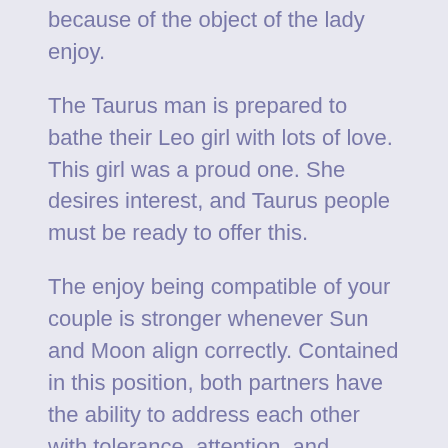because of the object of the lady enjoy.
The Taurus man is prepared to bathe their Leo girl with lots of love. This girl was a proud one. She desires interest, and Taurus people must be ready to offer this.
The enjoy being compatible of your couple is stronger whenever Sun and Moon align correctly. Contained in this position, both partners have the ability to address each other with tolerance, attention, and regard.
This planetary alignment motivates the Taurus guy to pamper their Leo girlfriend. They can have a look at the girl with heat and empathy.